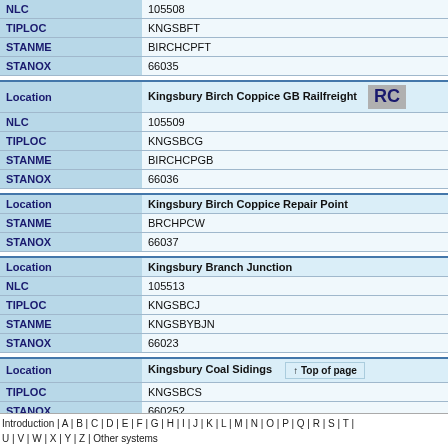| Field | Value |
| --- | --- |
| NLC | 105508 |
| TIPLOC | KNGSBFT |
| STANME | BIRCHCPFT |
| STANOX | 66035 |
| Field | Value |
| --- | --- |
| Location | Kingsbury Birch Coppice GB Railfreight |
| NLC | 105509 |
| TIPLOC | KNGSBCG |
| STANME | BIRCHCPGB |
| STANOX | 66036 |
| Field | Value |
| --- | --- |
| Location | Kingsbury Birch Coppice Repair Point |
| STANME | BRCHPCW |
| STANOX | 66037 |
| Field | Value |
| --- | --- |
| Location | Kingsbury Branch Junction |
| NLC | 105513 |
| TIPLOC | KNGSBCJ |
| STANME | KNGSBYBJN |
| STANOX | 66023 |
| Field | Value |
| --- | --- |
| Location | Kingsbury Coal Sidings |
| TIPLOC | KNGSBCS |
| STANOX | 66025? |
Introduction | A | B | C | D | E | F | G | H | I | J | K | L | M | N | O | P | Q | R | S | T | U | V | W | X | Y | Z | Other systems